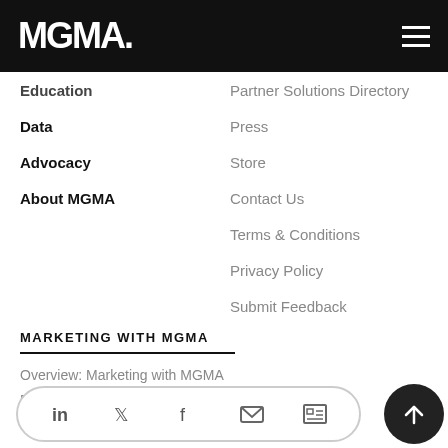MGMA
Education
Data
Advocacy
About MGMA
Partner Solutions Directory
Press
Store
Contact Us
Terms & Conditions
Privacy Policy
Submit Feedback
MARKETING WITH MGMA
Overview: Marketing with MGMA
Exhibit Booth Rental
Other MGMA Marketing